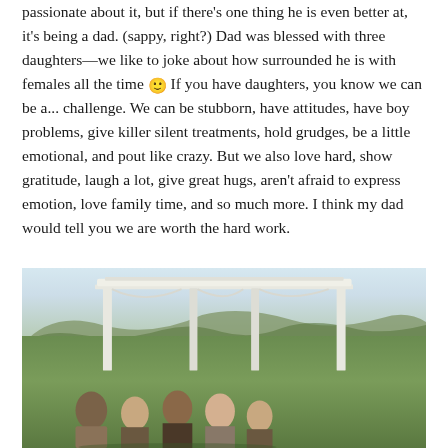passionate about it, but if there’s one thing he is even better at, it’s being a dad. (sappy, right?) Dad was blessed with three daughters—we like to joke about how surrounded he is with females all the time 🙂 If you have daughters, you know we can be a... challenge. We can be stubborn, have attitudes, have boy problems, give killer silent treatments, hold grudges, be a little emotional, and pout like crazy. But we also love hard, show gratitude, laugh a lot, give great hugs, aren’t afraid to express emotion, love family time, and so much more. I think my dad would tell you we are worth the hard work.
[Figure (photo): Family photo of a man and four females standing under a white pergola structure in an outdoor setting with green fields and hills in the background at dusk.]